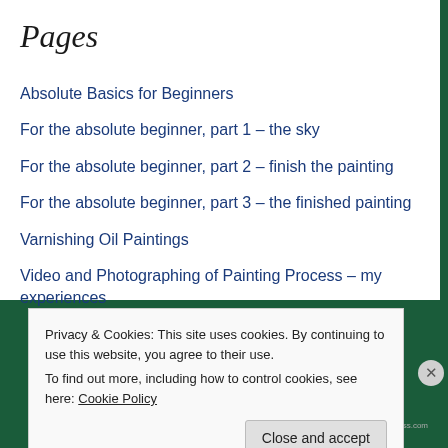Pages
Absolute Basics for Beginners
For the absolute beginner, part 1 – the sky
For the absolute beginner, part 2 – finish the painting
For the absolute beginner, part 3 – the finished painting
Varnishing Oil Paintings
Video and Photographing of Painting Process – my experiences
Privacy & Cookies: This site uses cookies. By continuing to use this website, you agree to their use.
To find out more, including how to control cookies, see here: Cookie Policy
Close and accept